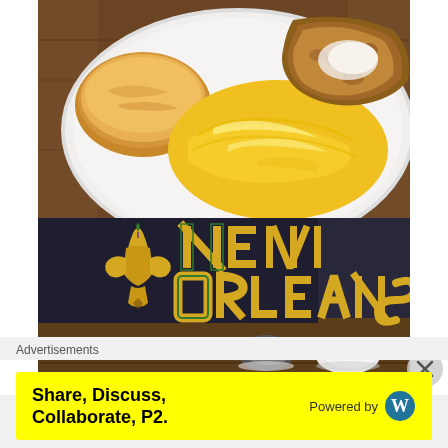[Figure (photo): Top half: overhead view of a white plate with scrambled eggs, a biscuit, and fried chicken on a wooden table. Bottom half: a dark t-shirt laid on a wooden floor showing 'NEW ORLEANS' text in gold/green decorative font with a fleur-de-lis symbol, and two pairs of shoes visible.]
[Figure (other): Close (X) button circle in grey on the right side of the image]
Advertisements
[Figure (infographic): Yellow advertisement banner: 'Share, Discuss, Collaborate, P2.' on left in bold black text. 'Powered by' with WordPress logo on right.]